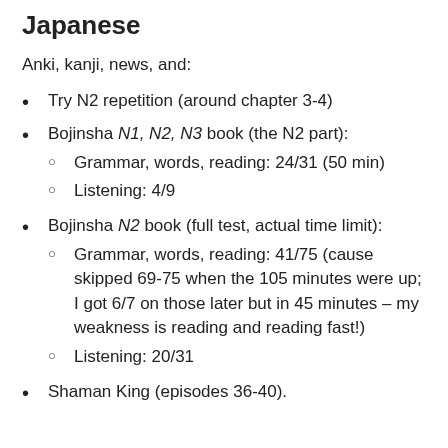Japanese
Anki, kanji, news, and:
Try N2 repetition (around chapter 3-4)
Bojinsha N1, N2, N3 book (the N2 part):
Grammar, words, reading: 24/31 (50 min)
Listening: 4/9
Bojinsha N2 book (full test, actual time limit):
Grammar, words, reading: 41/75 (cause skipped 69-75 when the 105 minutes were up; I got 6/7 on those later but in 45 minutes – my weakness is reading and reading fast!)
Listening: 20/31
Shaman King (episodes 36-40).